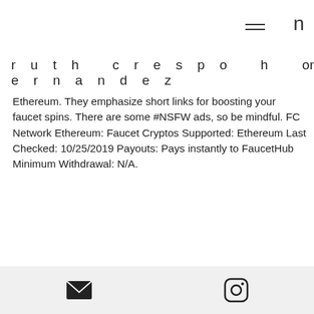n
ruth crespo hernandez   or
Ethereum. They emphasize short links for boosting your faucet spins. There are some #NSFW ads, so be mindful. FC Network Ethereum: Faucet Cryptos Supported: Ethereum Last Checked: 10/25/2019 Payouts: Pays instantly to FaucetHub Minimum Withdrawal: N/A.
Bitstarz instagram
Jackpot bloğu b ses · poker çevrimiçi tanımlayıcısı · fotb kumar oyunları · bitstarz casino bonus senza deposito codes 2021. User: бесплатные вращения bitstarz, bitstarz bitcoin casino bonus senza deposito